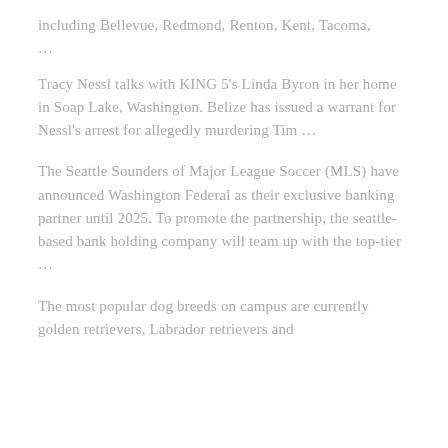including Bellevue, Redmond, Renton, Kent, Tacoma, …
Tracy Nessl talks with KING 5's Linda Byron in her home in Soap Lake, Washington. Belize has issued a warrant for Nessl's arrest for allegedly murdering Tim …
The Seattle Sounders of Major League Soccer (MLS) have announced Washington Federal as their exclusive banking partner until 2025. To promote the partnership, the seattle-based bank holding company will team up with the top-tier …
The most popular dog breeds on campus are currently golden retrievers, Labrador retrievers and